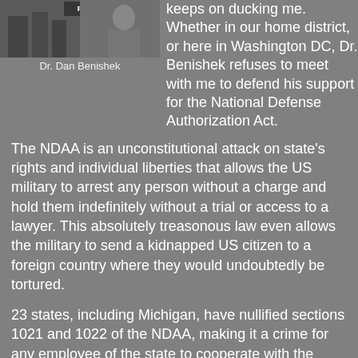[Figure (photo): Photo of Dr. Dan Benishek with a 'Peninsula' label visible in the upper portion]
Dr. Dan Benishek
keeps on ducking me. Whether in our home district, or here in Washington DC, Dr. Benishek refuses to meet with me to defend his support for the National Defense Authorization Act.
The NDAA is an unconstitutional attack on state's rights and individual liberties that allows the US military to arrest any person without a charge and hold them indefinitely without a trial or access to a lawyer. This absolutely treasonous law even allows the military to send a kidnapped US citizen to a foreign country where they would undoubtedly be tortured.
23 states, including Michigan, have nullified sections 1021 and 1022 of the NDAA, making it a crime for any employee of the state to cooperate with the black bagging of its citizens. In Michigan, state level Representatives and Senators voted unanimously to nullify the NDAA - UNANIMOUSLY, on both sides of the aisle - which should indicate to anyone how deadly serious this issue is, and how